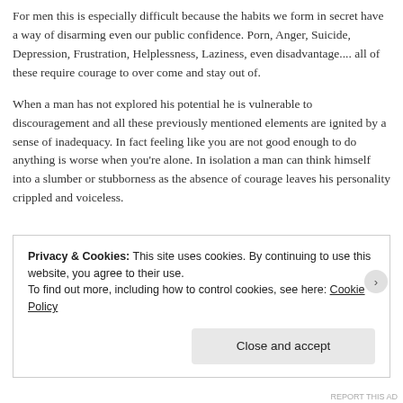For men this is especially difficult because the habits we form in secret have a way of disarming even our public confidence. Porn, Anger, Suicide, Depression, Frustration, Helplessness, Laziness, even disadvantage.... all of these require courage to over come and stay out of.
When a man has not explored his potential he is vulnerable to discouragement and all these previously mentioned elements are ignited by a sense of inadequacy. In fact feeling like you are not good enough to do anything is worse when you're alone. In isolation a man can think himself into a slumber or stubborness as the absence of courage leaves his personality crippled and voiceless.
Privacy & Cookies: This site uses cookies. By continuing to use this website, you agree to their use.
To find out more, including how to control cookies, see here: Cookie Policy
Close and accept